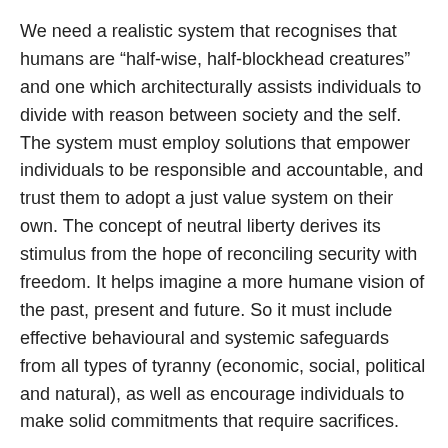We need a realistic system that recognises that humans are “half-wise, half-blockhead creatures” and one which architecturally assists individuals to divide with reason between society and the self. The system must employ solutions that empower individuals to be responsible and accountable, and trust them to adopt a just value system on their own. The concept of neutral liberty derives its stimulus from the hope of reconciling security with freedom. It helps imagine a more humane vision of the past, present and future. So it must include effective behavioural and systemic safeguards from all types of tyranny (economic, social, political and natural), as well as encourage individuals to make solid commitments that require sacrifices.
We need to work to make money so we can live; and we need to labour to raise the next generation so we can grow – but we must also act for what we believe so we can change for the better.